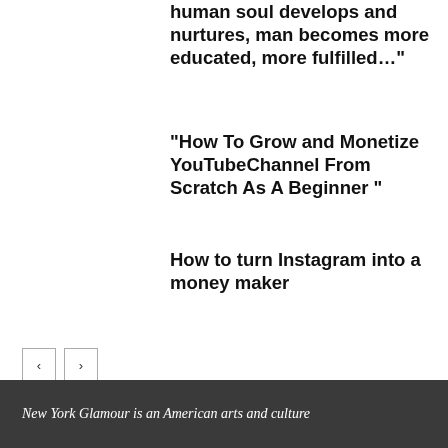human soul develops and nurtures, man becomes more educated, more fulfilled…"
“How To Grow and Monetize YouTubeChannel From Scratch As A Beginner ”
How to turn Instagram into a money maker
< >
New York Glamour is an American arts and culture